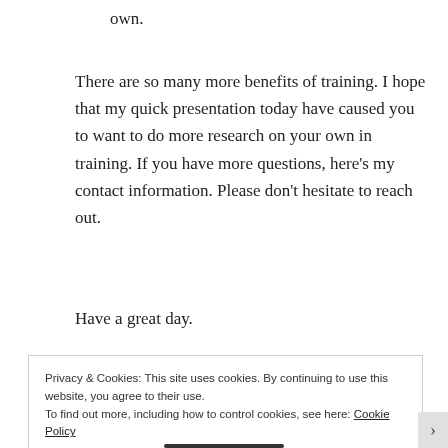own.
There are so many more benefits of training. I hope that my quick presentation today have caused you to want to do more research on your own in training. If you have more questions, here’s my contact information. Please don’t hesitate to reach out.
Have a great day.
Privacy & Cookies: This site uses cookies. By continuing to use this website, you agree to their use.
To find out more, including how to control cookies, see here: Cookie Policy
Close and accept